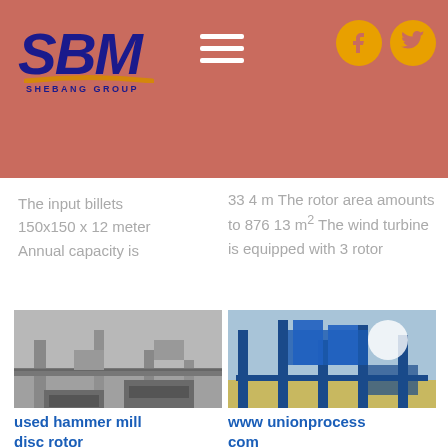[Figure (logo): SBM Shebang Group logo with blue bold italic letters and gold underline arc]
[Figure (infographic): Hamburger menu icon (three horizontal white lines) on reddish-brown header background]
[Figure (logo): Social media icons: Facebook and Twitter in gold circles on reddish-brown background]
The input billets 150x150 x 12 meter Annual capacity is
33 4 m The rotor area amounts to 876 13 m² The wind turbine is equipped with 3 rotor
[Figure (photo): Industrial machinery inside a factory/warehouse, gray structures and heavy equipment]
[Figure (photo): Industrial blue steel structures and equipment outdoors in bright sunlight]
used hammer mill disc rotor haflingerweekend
www unionprocess com